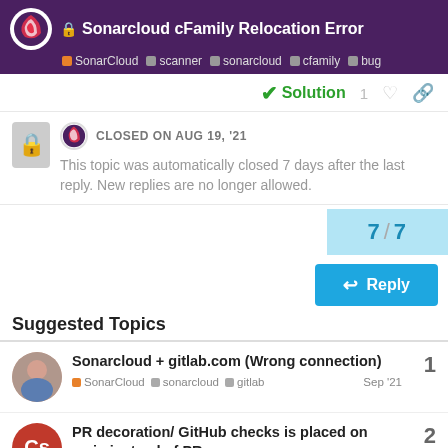🔒 Sonarcloud cFamily Relocation Error | SonarCloud • scanner • sonarcloud • cfamily • bug
✓ Solution   1 ♡ 🔗
CLOSED ON AUG 19, '21
This topic was automatically closed 7 days after the last reply. New replies are no longer allowed.
7 / 7
Reply
Suggested Topics
Sonarcloud + gitlab.com (Wrong connection)
SonarCloud • sonarcloud • gitlab
Sep '21
1
PR decoration/ GitHub checks is placed on main instead of PR
2